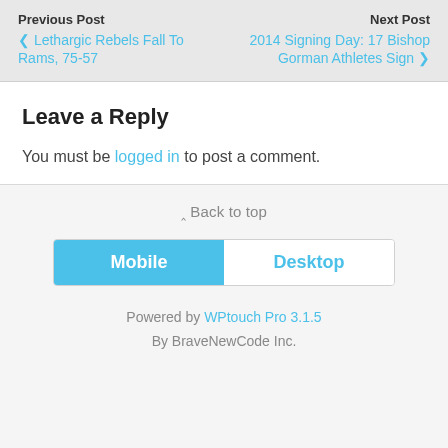Previous Post | Next Post | Lethargic Rebels Fall To Rams, 75-57 | 2014 Signing Day: 17 Bishop Gorman Athletes Sign
Leave a Reply
You must be logged in to post a comment.
⋀ Back to top
Mobile | Desktop
Powered by WPtouch Pro 3.1.5 By BraveNewCode Inc.